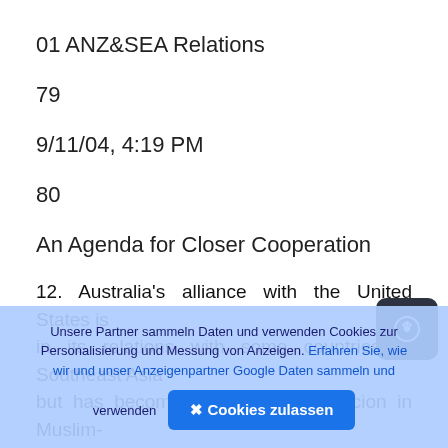01 ANZ&SEA Relations
79
9/11/04, 4:19 PM
80
An Agenda for Closer Cooperation
12. Australia's alliance with the United States is in its relations with some countries in Southeast Asia but has become a source of suspicion in Muslim-
Unsere Partner sammeln Daten und verwenden Cookies zur Personalisierung und Messung von Anzeigen. Erfahren Sie, wie wir und unser Anzeigenpartner Google Daten sammeln und verwenden
Cookies zulassen